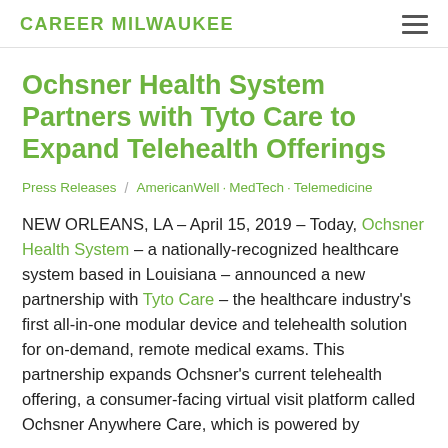CAREER MILWAUKEE
Ochsner Health System Partners with Tyto Care to Expand Telehealth Offerings
Press Releases / AmericanWell MedTech Telemedicine
NEW ORLEANS, LA – April 15, 2019 – Today, Ochsner Health System – a nationally-recognized healthcare system based in Louisiana – announced a new partnership with Tyto Care – the healthcare industry's first all-in-one modular device and telehealth solution for on-demand, remote medical exams. This partnership expands Ochsner's current telehealth offering, a consumer-facing virtual visit platform called Ochsner Anywhere Care, which is powered by